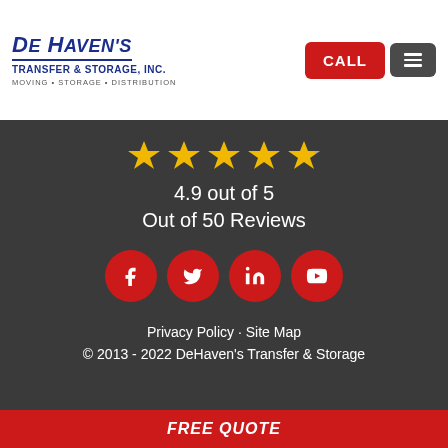[Figure (logo): De Haven's Transfer & Storage, Inc. logo with blue text and tagline MOVING • STORAGE • DISTRIBUTION]
CALL
[Figure (infographic): 4.9 out of 5 stars rating with 4 full gold stars and 1 partial gold star]
4.9 out of 5
Out of 50 Reviews
[Figure (infographic): Social media icons: Facebook, Twitter, LinkedIn, YouTube — all in red circles]
Privacy Policy · Site Map
© 2013 - 2022 DeHaven's Transfer & Storage
FREE QUOTE